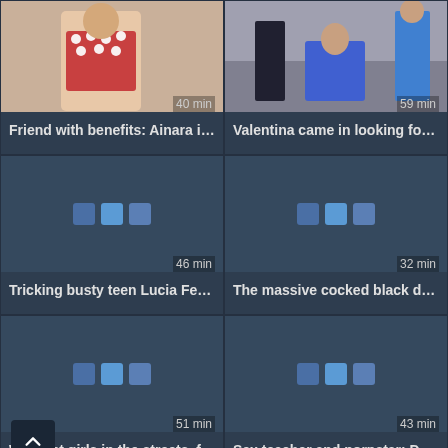[Figure (screenshot): Video thumbnail showing a woman in a red patterned outfit. Duration badge: 40 min.]
Friend with benefits: Ainara intr...
[Figure (screenshot): Video thumbnail showing a woman in blue dress with two men. Duration badge: 59 min.]
Valentina came in looking for in...
[Figure (screenshot): Loading placeholder with colored squares. Duration badge: 46 min.]
Tricking busty teen Lucia Ferna...
[Figure (screenshot): Loading placeholder with colored squares. Duration badge: 32 min.]
The massive cocked black dud...
[Figure (screenshot): Loading placeholder with colored squares. Duration badge: 51 min.]
We hunt girls in the streets, fin...
[Figure (screenshot): Loading placeholder with colored squares. Duration badge: 43 min.]
Sex teacher and pornstar: Dam...